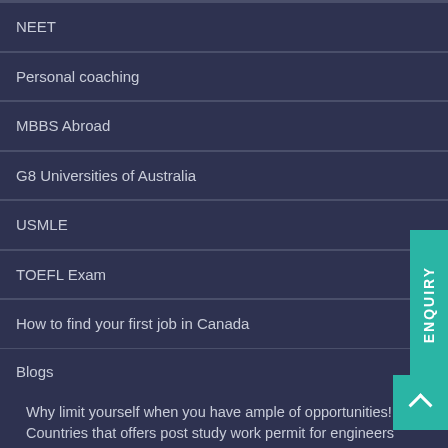NEET
Personal coaching
MBBS Abroad
G8 Universities of Australia
USMLE
TOEFL Exam
How to find your first job in Canada
Blogs
Why limit yourself when you have ample of opportunities!
Countries that offers post study work permit for engineers
New Zealand Immigration and PR process